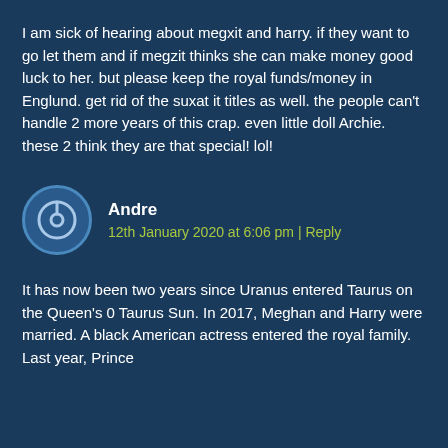I am sick of hearing about megxit and harry. if they want to go let them and if megzit thinks she can make money good luck to her. but please keep the royal funds/money in Englund. get rid of the suxat it titles as well. the people can't handle 2 more years of this crap. even little doll Archie. these 2 think they are that special! lol!
Andre
12th January 2020 at 6:06 pm | Reply
It has now been two years since Uranus entered Taurus on the Queen's 0 Taurus Sun. In 2017, Meghan and Harry were married. A black American actress entered the royal family. Last year, Prince